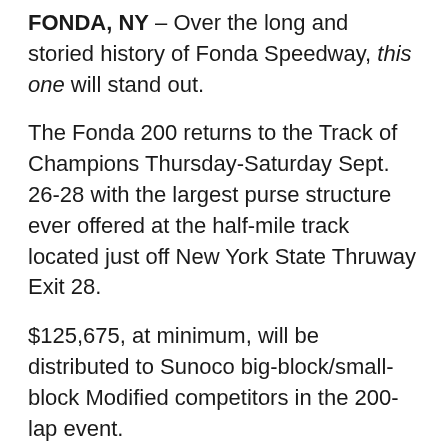FONDA, NY – Over the long and storied history of Fonda Speedway, this one will stand out.
The Fonda 200 returns to the Track of Champions Thursday-Saturday Sept. 26-28 with the largest purse structure ever offered at the half-mile track located just off New York State Thruway Exit 28.
$125,675, at minimum, will be distributed to Sunoco big-block/small-block Modified competitors in the 200-lap event.
Of course, the much-talked-about $53,000 top prize has been the buzz of the Modified community since its announcement in January. But the payout through the event's starting field is lucrative, as well.
At the end of 200 laps, the winner will receive the aforementioned $53,000-plus. Second-place takes home $20,000, followed by $10,000 for third, $7,000 for fourth and $6,000 for fifth...